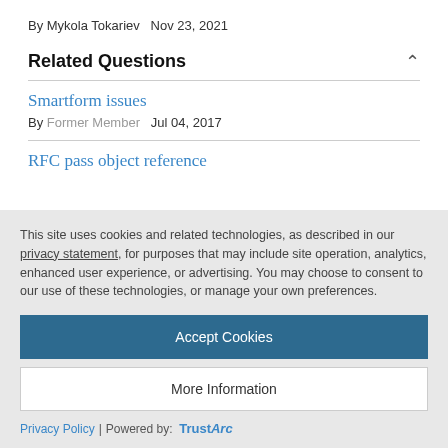By Mykola Tokariev   Nov 23, 2021
Related Questions
Smartform issues
By Former Member   Jul 04, 2017
RFC pass object reference
This site uses cookies and related technologies, as described in our privacy statement, for purposes that may include site operation, analytics, enhanced user experience, or advertising. You may choose to consent to our use of these technologies, or manage your own preferences.
Accept Cookies
More Information
Privacy Policy | Powered by: TrustArc